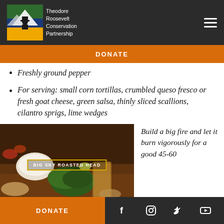Theodore Roosevelt Conservation Partnership
DONATE
Freshly ground pepper
For serving: small corn tortillas, crumbled queso fresco or fresh goat cheese, green salsa, thinly sliced scallions, cilantro sprigs, lime wedges
[Figure (photo): Food spread with herbs, tortillas, and a drink glass. Label in center reads 'BIG SKY ROASTED HEAD']
Build a big fire and let it burn vigorously for a good 45-60
DONATE